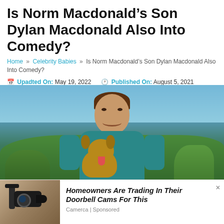Is Norm Macdonald’s Son Dylan Macdonald Also Into Comedy?
Home » Celebrity Babies » Is Norm Macdonald’s Son Dylan Macdonald Also Into Comedy?
Upadted On: May 19, 2022   Published On: August 5, 2021   Rupakheti
[Figure (photo): Young man in teal shirt holding a small dog outdoors with trees in background]
[Figure (photo): Advertisement showing a security camera on a wall bracket]
Homeowners Are Trading In Their Doorbell Cams For This
Camerca | Sponsored